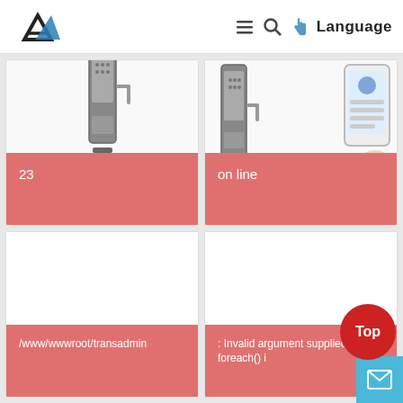Language
[Figure (screenshot): Product card showing smart door lock image, labeled '23']
[Figure (screenshot): Product card showing smart door lock with phone/app image, labeled 'on line']
[Figure (screenshot): Product card with error text '/www/wwwroot/transadmin...']
[Figure (screenshot): Product card with error text ': Invalid argument supplied for foreach() i']